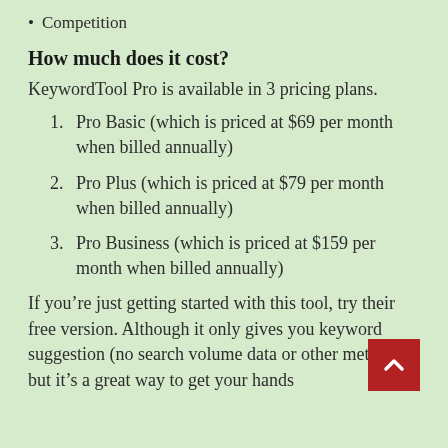Competition
How much does it cost?
KeywordTool Pro is available in 3 pricing plans.
Pro Basic (which is priced at $69 per month when billed annually)
Pro Plus (which is priced at $79 per month when billed annually)
Pro Business (which is priced at $159 per month when billed annually)
If you’re just getting started with this tool, try their free version. Although it only gives you keyword suggestion (no search volume data or other metrics) but it’s a great way to get your hands